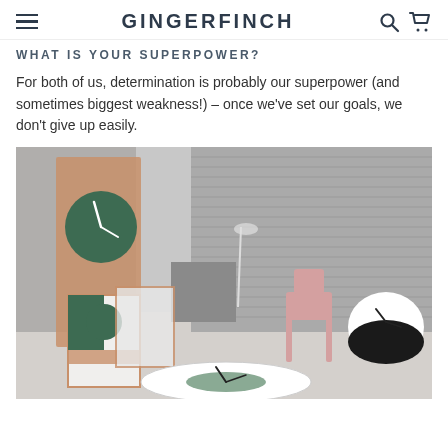GINGERFINCH
WHAT IS YOUR SUPERPOWER?
For both of us, determination is probably our superpower (and sometimes biggest weakness!) – once we've set our goals, we don't give up easily.
[Figure (photo): A styled product photo in an industrial warehouse setting showing design objects: a large dark green wall clock on a copper plywood board, two geometric art prints leaning against the wall, a small pink wooden chair, a black-and-white clock resting on the floor, and a large flat clock on the ground.]